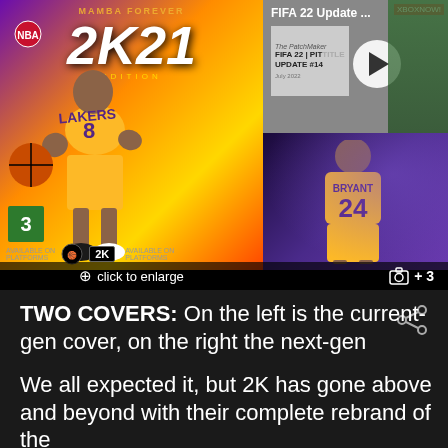[Figure (photo): Grid of gaming images: left shows NBA 2K21 Mamba Forever Edition cover with Kobe Bryant in Lakers #8 jersey; top-right shows FIFA 22 update video thumbnail with play button; bottom-right shows Kobe Bryant #24 Lakers jersey from behind. Overlay bar shows 'click to enlarge' and camera icon with '+3'.]
TWO COVERS: On the left is the current-gen cover, on the right the next-gen
We all expected it, but 2K has gone above and beyond with their complete rebrand of the